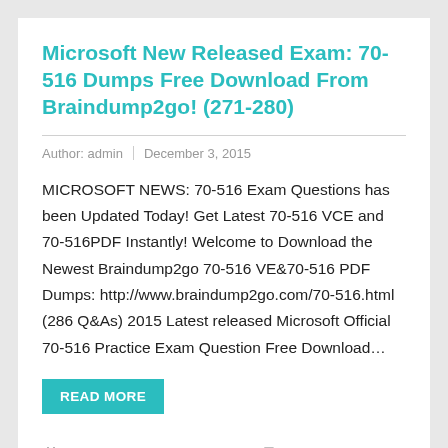Microsoft New Released Exam: 70-516 Dumps Free Download From Braindump2go! (271-280)
Author: admin   December 3, 2015
MICROSOFT NEWS: 70-516 Exam Questions has been Updated Today! Get Latest 70-516 VCE and 70-516PDF Instantly! Welcome to Download the Newest Braindump2go 70-516 VE&70-516 PDF Dumps: http://www.braindump2go.com/70-516.html (286 Q&As) 2015 Latest released Microsoft Official 70-516 Practice Exam Question Free Download…
READ MORE
70-516 Dumps, 70-516 Exam Questions, 70-516 PDF, 70-516 VCE, Microsoft Exam
70-341 Book, 70-341 Book PDF, 70-341 Braindump, 70-341 Dump, 70-341 Exam Dumps, 70-341 Exam